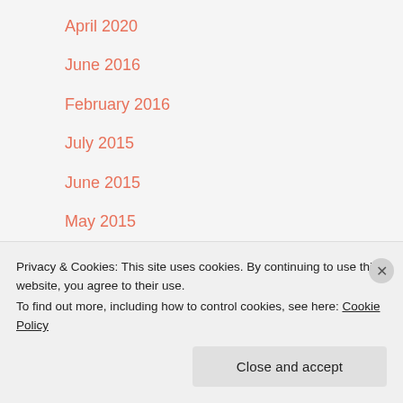April 2020
June 2016
February 2016
July 2015
June 2015
May 2015
April 2015
March 2015
February 2015
January 2015
December 2014
Privacy & Cookies: This site uses cookies. By continuing to use this website, you agree to their use.
To find out more, including how to control cookies, see here: Cookie Policy
Close and accept